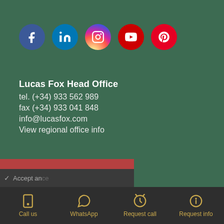[Figure (infographic): Social media icons: Facebook (blue circle), LinkedIn (blue circle), Instagram (gradient circle), YouTube (red circle), Pinterest (red circle)]
Lucas Fox Head Office
tel. (+34) 933 562 989
fax (+34) 933 041 848
info@lucasfox.com
View regional office info
This website uses cookies to ensure you get the best experience on our website.
View privacy policy
Call us | WhatsApp | Request call | Request info